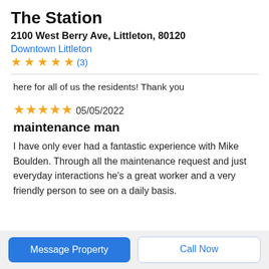The Station
2100 West Berry Ave, Littleton, 80120
Downtown Littleton ★★★★★ (3)
here for all of us the residents! Thank you
★★★★★ 05/05/2022
maintenance man
I have only ever had a fantastic experience with Mike Boulden. Through all the maintenance request and just everyday interactions he's a great worker and a very friendly person to see on a daily basis.